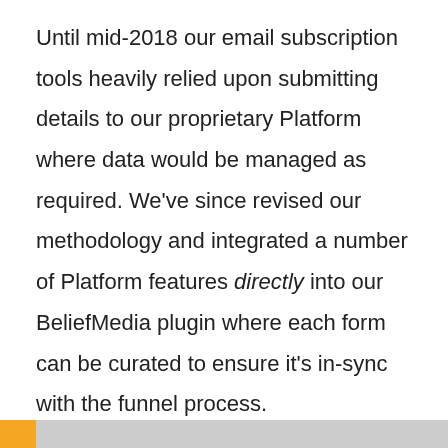Until mid-2018 our email subscription tools heavily relied upon submitting details to our proprietary Platform where data would be managed as required. We've since revised our methodology and integrated a number of Platform features directly into our BeliefMedia plugin where each form can be curated to ensure it's in-sync with the funnel process.
Since our mailing list plugin and associated tools are in a constant state of development this article has to be considered out-of-date. Note also that email forms and contact forms are created in the same manner. Contact